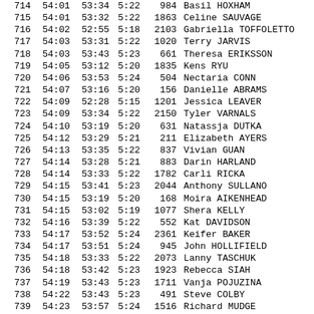| Place | Gun Time | Net Time | Pace | Bib | Name |
| --- | --- | --- | --- | --- | --- |
| 714 | 54:01 | 53:34 | 5:22 | 984 | Basil HOXHAM |
| 715 | 54:01 | 53:32 | 5:22 | 1863 | Celine SAUVAGE |
| 716 | 54:02 | 52:55 | 5:18 | 2103 | Gabriella TOFFOLETTO |
| 717 | 54:03 | 53:31 | 5:22 | 1020 | Terry JARVIS |
| 718 | 54:03 | 53:43 | 5:23 | 661 | Theresa ERIKSSON |
| 719 | 54:05 | 53:12 | 5:20 | 1835 | Kens RYU |
| 720 | 54:06 | 53:53 | 5:24 | 504 | Nectaria CONN |
| 721 | 54:07 | 53:16 | 5:20 | 156 | Danielle ABRAMS |
| 722 | 54:09 | 52:28 | 5:15 | 1201 | Jessica LEAVER |
| 723 | 54:09 | 53:34 | 5:22 | 2150 | Tyler VARNALS |
| 724 | 54:10 | 53:19 | 5:20 | 631 | Natassja DUTKA |
| 725 | 54:12 | 53:29 | 5:21 | 211 | Elizabeth AYERS |
| 726 | 54:13 | 53:35 | 5:22 | 837 | Vivian GUAN |
| 727 | 54:14 | 53:28 | 5:21 | 883 | Darin HARLAND |
| 728 | 54:14 | 53:33 | 5:22 | 1782 | Carli RICKA |
| 729 | 54:15 | 53:41 | 5:23 | 2044 | Anthony SULLANO |
| 730 | 54:15 | 53:19 | 5:20 | 168 | Moira AIKENHEAD |
| 731 | 54:15 | 53:02 | 5:19 | 1077 | Shera KELLY |
| 732 | 54:16 | 53:39 | 5:22 | 552 | Kat DAVIDSON |
| 733 | 54:17 | 53:52 | 5:24 | 2361 | Keifer BAKER |
| 734 | 54:17 | 53:51 | 5:24 | 945 | John HOLLIFIELD |
| 735 | 54:18 | 53:33 | 5:22 | 2073 | Lanny TASCHUK |
| 736 | 54:18 | 53:42 | 5:23 | 1923 | Rebecca SIAH |
| 737 | 54:19 | 53:43 | 5:23 | 1711 | Vanja POJUZINA |
| 738 | 54:22 | 53:43 | 5:23 | 491 | Steve COLBY |
| 739 | 54:23 | 53:57 | 5:24 | 1516 | Richard MUDGE |
| 740 | 54:25 | 53:44 | 5:23 | 1625 | Ermin PAGTAKHAN |
| 741 | 54:26 | 53:41 | 5:23 | 1165 | Daniel LADNER |
| 742 | 54:26 | 53:42 | 5:23 | 1166 | Tomoko LADNER |
| 743 | 54:26 | 53:57 | 5:24 | 2059 | Teena TAKASHIBA |
| 744 | 54:27 | 53:08 | 5:21 | 1725 | Ron PRAGNALL |